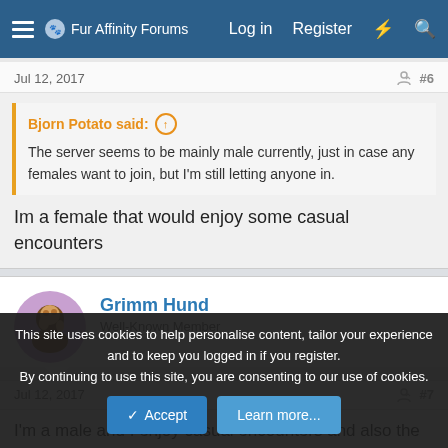Fur Affinity Forums — Log in  Register
Jul 12, 2017  #6
Bjorn Potato said: ↑
The server seems to be mainly male currently, just in case any females want to join, but I'm still letting anyone in.
Im a female that would enjoy some casual encounters
Grimm Hund
Well-Known Member
Jul 12, 2017  #7
I'm a male and I enjoy casual encounters and also the possible
This site uses cookies to help personalise content, tailor your experience and to keep you logged in if you register.
By continuing to use this site, you are consenting to our use of cookies.